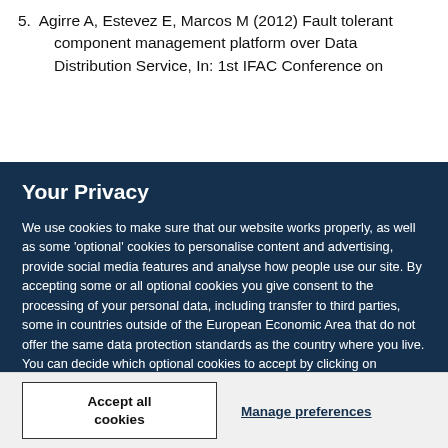5. Agirre A, Estevez E, Marcos M (2012) Fault tolerant component management platform over Data Distribution Service, In: 1st IFAC Conference on
Your Privacy
We use cookies to make sure that our website works properly, as well as some 'optional' cookies to personalise content and advertising, provide social media features and analyse how people use our site. By accepting some or all optional cookies you give consent to the processing of your personal data, including transfer to third parties, some in countries outside of the European Economic Area that do not offer the same data protection standards as the country where you live. You can decide which optional cookies to accept by clicking on 'Manage Settings', where you can also find more information about how your personal data is processed. Further information can be found in our privacy policy.
Accept all cookies
Manage preferences